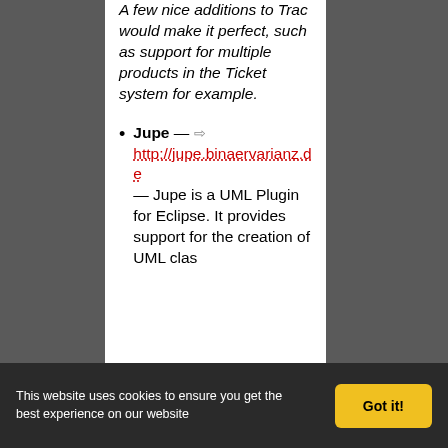A few nice additions to Trac would make it perfect, such as support for multiple products in the Ticket system for example.
Jupe — http://jupe.binaervarianz.de — Jupe is a UML Plugin for Eclipse. It provides support for the creation of UML clas...
This website uses cookies to ensure you get the best experience on our website